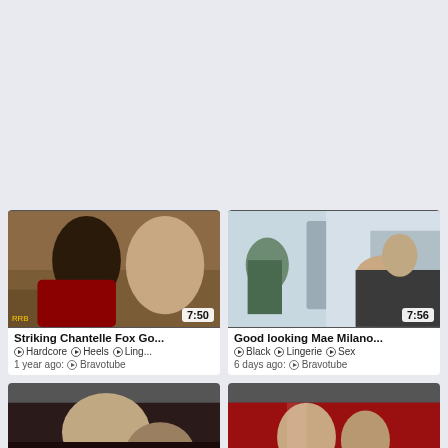[Figure (screenshot): Video thumbnail 1 - woman in red latex outfit with man, duration 7:50]
Striking Chantelle Fox Go...
Hardcore  Heels  Ling...
1 year ago  Bravotube
[Figure (screenshot): Video thumbnail 2 - kitchen scene with woman in cat ears costume, duration 7:56]
Good looking Mae Milano...
Black  Lingerie  Sex
6 days ago  Bravotube
[Figure (screenshot): Video thumbnail 3 - two people, duration 6:57]
[Figure (screenshot): Video thumbnail 4 - group scene at table, duration 6:58]